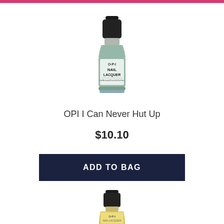[Figure (photo): OPI Nail Lacquer bottle in mint/sage green color with black cap]
OPI I Can Never Hut Up
$10.10
ADD TO BAG
[Figure (photo): OPI Nail Lacquer bottle in gold/glitter color with black cap, partially visible]